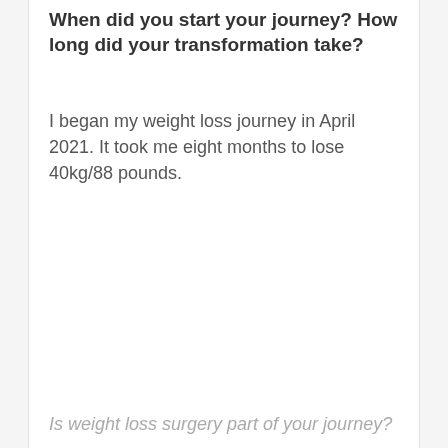When did you start your journey? How long did your transformation take?
I began my weight loss journey in April 2021. It took me eight months to lose 40kg/88 pounds.
Is weight loss surgery part of your journey?